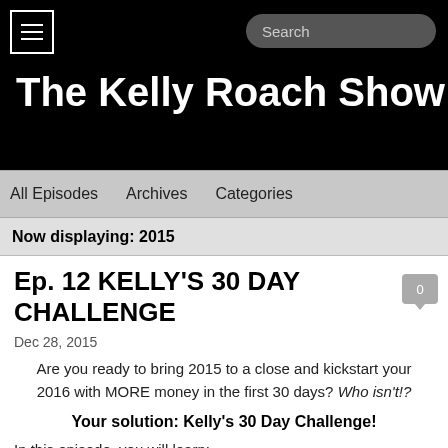The Kelly Roach Show
All Episodes   Archives   Categories
Now displaying: 2015
Ep. 12 KELLY'S 30 DAY CHALLENGE
Dec 28, 2015
Are you ready to bring 2015 to a close and kickstart your 2016 with MORE money in the first 30 days? Who isn't!?
Your solution: Kelly's 30 Day Challenge!
In this episode, you will learn: